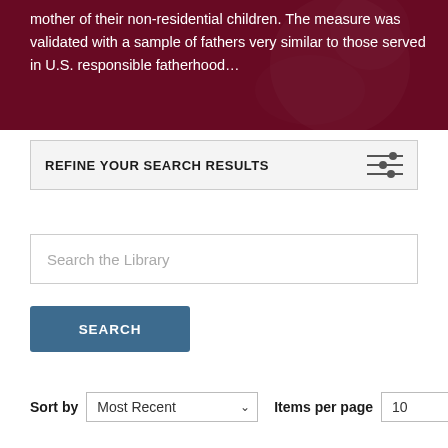mother of their non-residential children. The measure was validated with a sample of fathers very similar to those served in U.S. responsible fatherhood…
REFINE YOUR SEARCH RESULTS
Search the Library
SEARCH
Sort by  Most Recent   Items per page  10